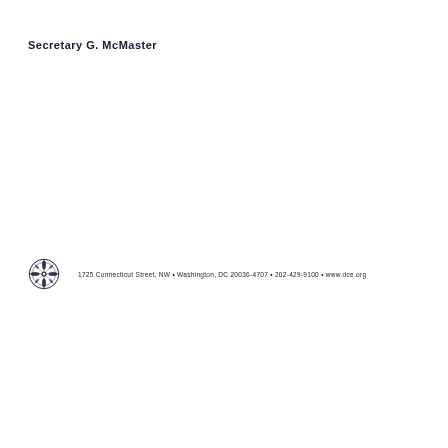Secretary G. McMaster
1725 Connecticut Street, NW • Washington, DC 20036-4707 • 202-429-9100 • www.dce.org